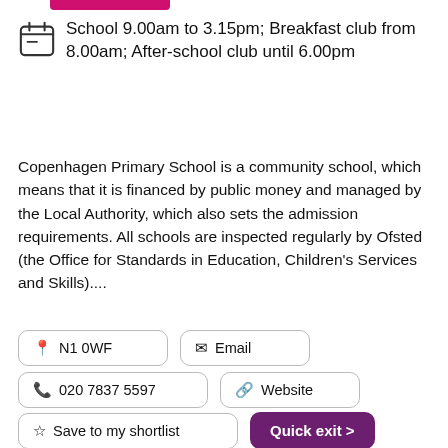School 9.00am to 3.15pm; Breakfast club from 8.00am; After-school club until 6.00pm
Copenhagen Primary School is a community school, which means that it is financed by public money and managed by the Local Authority, which also sets the admission requirements. All schools are inspected regularly by Ofsted (the Office for Standards in Education, Children's Services and Skills)....
N1 0WF
Email
020 7837 5597
Website
Save to my shortlist
Quick exit >